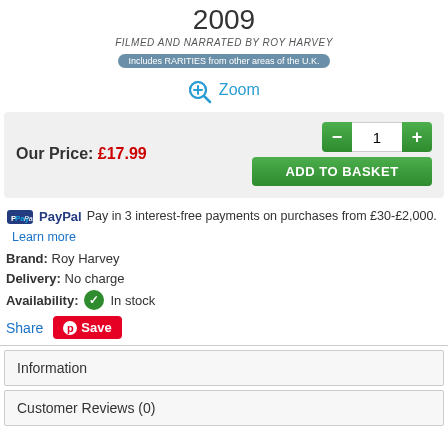2009
FILMED AND NARRATED BY ROY HARVEY
Includes RARITIES from other areas of the UK.
Zoom
Our Price: £17.99
PayPal Pay in 3 interest-free payments on purchases from £30-£2,000. Learn more
Brand: Roy Harvey
Delivery: No charge
Availability: In stock
Share Save
Information
Customer Reviews (0)